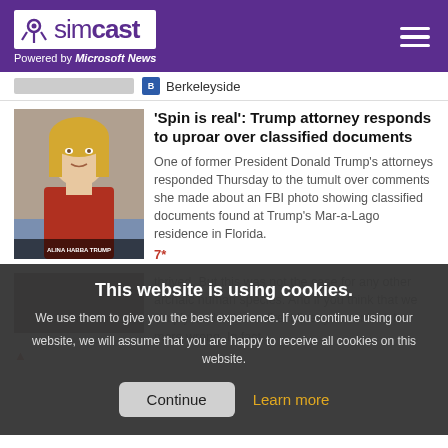simcast — Powered by Microsoft News
Berkeleyside
[Figure (photo): TV screenshot of a woman (Alina Habba Trump attorney) in a red outfit, text overlay at bottom reading ALINA HABBA TRUMP]
'Spin is real': Trump attorney responds to uproar over classified documents
One of former President Donald Trump's attorneys responded Thursday to the tumult over comments she made about an FBI photo showing classified documents found at Trump's Mar-a-Lago residence in Florida.
This website is using cookies.
We use them to give you the best experience. If you continue using our website, we will assume that you are happy to receive all cookies on this website.
Continue   Learn more
thrived. But this was not the case for any other archaic human species. And if you think that we simply evolved in a direct line, you couldn't be more wrong. In fact,...